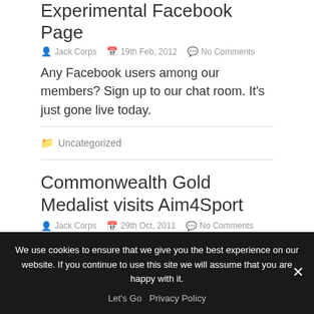Experimental Facebook Page
Jack Corps   19th Feb, 2012   No Comments
Any Facebook users among our members? Sign up to our chat room. It’s just gone live today.
Uncategorized
Commonwealth Gold Medalist visits Aim4Sport
Jack Corps   29th Oct, 2011   No Comments
We use cookies to ensure that we give you the best experience on our website. If you continue to use this site we will assume that you are happy with it.

Let’s Go   Privacy Policy